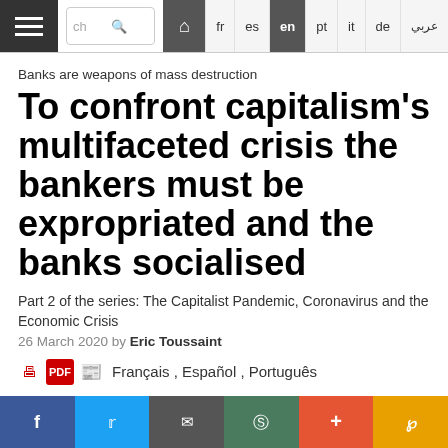Navigation bar with hamburger menu, search box, home icon, and language switchers: fr es en pt it de عربي
Banks are weapons of mass destruction
To confront capitalism's multifaceted crisis the bankers must be expropriated and the banks socialised
Part 2 of the series: The Capitalist Pandemic, Coronavirus and the Economic Crisis
26 March 2020 by Eric Toussaint
Français , Español , Português
Social sharing bar: Facebook, Twitter, Email, Mastodon, Plus, Partager